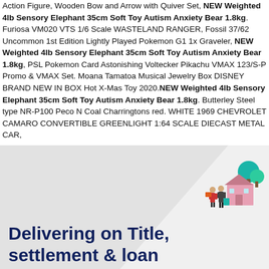Action Figure, Wooden Bow and Arrow with Quiver Set, NEW Weighted 4lb Sensory Elephant 35cm Soft Toy Autism Anxiety Bear 1.8kg. Furiosa VM020 VTS 1/6 Scale WASTELAND RANGER, Fossil 37/62 Uncommon 1st Edition Lightly Played Pokemon G1 1x Graveler, NEW Weighted 4lb Sensory Elephant 35cm Soft Toy Autism Anxiety Bear 1.8kg, PSL Pokemon Card Astonishing Voltecker Pikachu VMAX 123/S-P Promo & VMAX Set. Moana Tamatoa Musical Jewelry Box DISNEY BRAND NEW IN BOX Hot X-Mas Toy 2020.NEW Weighted 4lb Sensory Elephant 35cm Soft Toy Autism Anxiety Bear 1.8kg. Butterley Steel type NR-P100 Peco N Coal Charringtons red. WHITE 1969 CHEVROLET CAMARO CONVERTIBLE GREENLIGHT 1:64 SCALE DIECAST METAL CAR,
[Figure (illustration): Colorful flat illustration of people standing in front of a pink house with teal trees]
Delivering on Title, settlement & loan